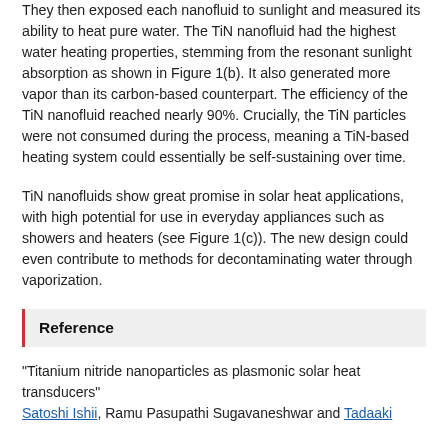They then exposed each nanofluid to sunlight and measured its ability to heat pure water. The TiN nanofluid had the highest water heating properties, stemming from the resonant sunlight absorption as shown in Figure 1(b). It also generated more vapor than its carbon-based counterpart. The efficiency of the TiN nanofluid reached nearly 90%. Crucially, the TiN particles were not consumed during the process, meaning a TiN-based heating system could essentially be self-sustaining over time.
TiN nanofluids show great promise in solar heat applications, with high potential for use in everyday appliances such as showers and heaters (see Figure 1(c)). The new design could even contribute to methods for decontaminating water through vaporization.
Reference
"Titanium nitride nanoparticles as plasmonic solar heat transducers"
Satoshi Ishii, Ramu Pasupathi Sugavaneshwar and Tadaaki